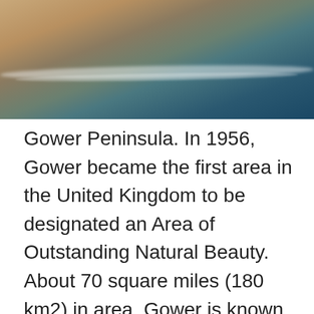[Figure (photo): Aerial photograph of the Gower Peninsula coastline showing sandy beach and blue-green sea water from above]
Gower Peninsula. In 1956, Gower became the first area in the United Kingdom to be designated an Area of Outstanding Natural Beauty. About 70 square miles (180 km2) in area, Gower is known for its coastline, popular with walkers and outdoor enthusiasts, especially surfers. Gower has many caves, including Paviland Cave and Minchin Hole Cave. The highest point of Gower is The Beacon at Rhossili Down at 193 metres (633 ft) overlooking Rhossili Bay. The interior of Gower consists mainly of farmland and common land. The population resides mainly in villages and small communities. The southern coast consists of a series of small, rocky or sandy bays, such as Langland and Three Cliffs, and larger beaches such as Port Eynon, Rhossili and Oxwich Bay. The north of the peninsula has fewer beaches, and is home to the cockle beds of Penclawdd